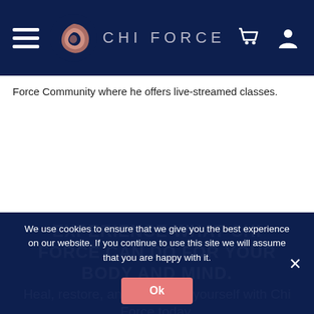CHI FORCE
Force Community where he offers live-streamed classes.
EXPERIENCE WHAT CHI FORCE CAN DO FOR YOUR BODY AND MIND.
Heal, restore, and transform yourself with Chi Force today.
We use cookies to ensure that we give you the best experience on our website. If you continue to use this site we will assume that you are happy with it.